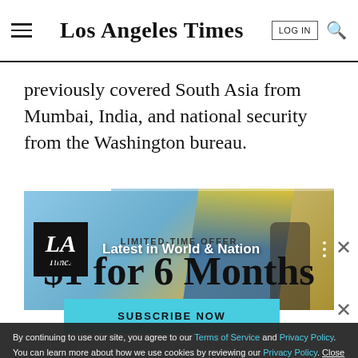Los Angeles Times
previously covered South Asia from Mumbai, India, and national security from the Washington bureau.
[Figure (screenshot): LA Times video banner showing 'Latest in World & Nation' with blue and gold flag background]
LIMITED-TIME OFFER
$1 for 6 Months
SUBSCRIBE NOW
By continuing to use our site, you agree to our Terms of Service and Privacy Policy. You can learn more about how we use cookies by reviewing our Privacy Policy. Close